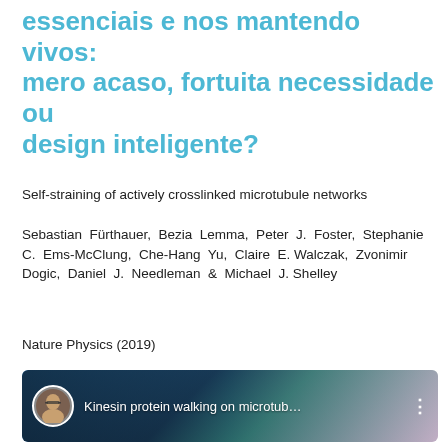essenciais e nos mantendo vivos: mero acaso, fortuita necessidade ou design inteligente?
Self-straining of actively crosslinked microtubule networks
Sebastian Fürthauer, Bezia Lemma, Peter J. Foster, Stephanie C. Ems-McClung, Che-Hang Yu, Claire E. Walczak, Zvonimir Dogic, Daniel J. Needleman & Michael J. Shelley
Nature Physics (2019)
[Figure (screenshot): Video thumbnail showing 'Kinesin protein walking on microtub...' with a circular avatar of a person with glasses, dark space background with blue and teal spherical cell-like structures, and a three-dot menu icon on the right.]